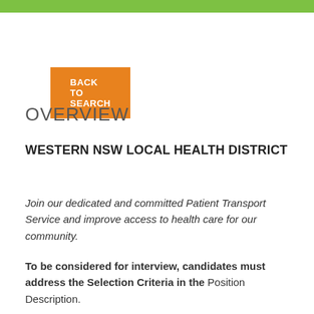BACK TO SEARCH
OVERVIEW
WESTERN NSW LOCAL HEALTH DISTRICT
Join our dedicated and committed Patient Transport Service and improve access to health care for our community.
To be considered for interview, candidates must address the Selection Criteria in the Position Description.